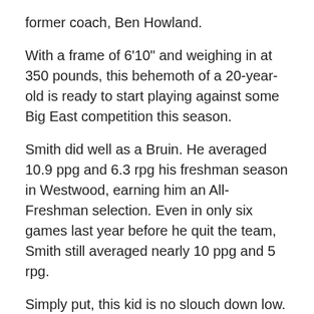former coach, Ben Howland.
With a frame of 6'10" and weighing in at 350 pounds, this behemoth of a 20-year-old is ready to start playing against some Big East competition this season.
Smith did well as a Bruin. He averaged 10.9 ppg and 6.3 rpg his freshman season in Westwood, earning him an All-Freshman selection. Even in only six games last year before he quit the team, Smith still averaged nearly 10 ppg and 5 rpg.
Simply put, this kid is no slouch down low.
What does this mean to Georgetown and their hopes of becoming Big East champions this season? A lot. Pair him alongside some other lanky bigs like Mikael Hopkins, Bradley Hayes and Moses Ayegba, and